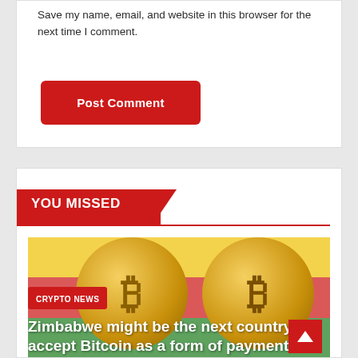Save my name, email, and website in this browser for the next time I comment.
Post Comment
YOU MISSED
[Figure (photo): Bitcoin gold coins on a background resembling the Zimbabwe flag with red, yellow and green stripes]
CRYPTO NEWS
Zimbabwe might be the next country to accept Bitcoin as a form of payment.